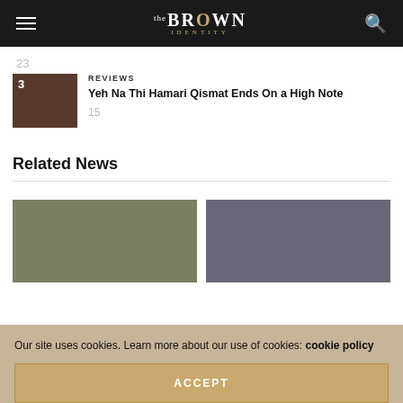The Brown Identity
23
[Figure (photo): Small thumbnail image with number 3 badge, dark brownish photo]
REVIEWS
Yeh Na Thi Hamari Qismat Ends On a High Note
15
Related News
[Figure (photo): Left related news thumbnail: blurry photo of a woman]
[Figure (photo): Right related news thumbnail: blurry photo of a woman]
Our site uses cookies. Learn more about our use of cookies: cookie policy
ACCEPT